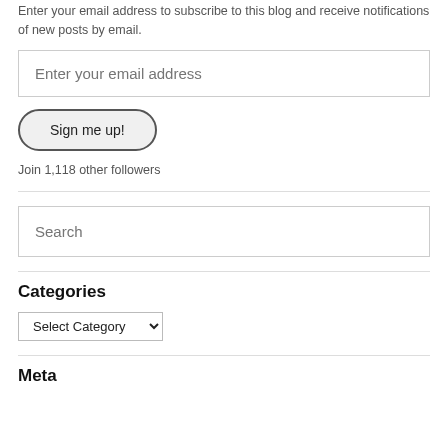Enter your email address to subscribe to this blog and receive notifications of new posts by email.
[Figure (other): Email address input field with placeholder text 'Enter your email address']
[Figure (other): Button labeled 'Sign me up!' with rounded pill shape border]
Join 1,118 other followers
[Figure (other): Search input field with placeholder text 'Search']
Categories
[Figure (other): Dropdown select element showing 'Select Category']
Meta